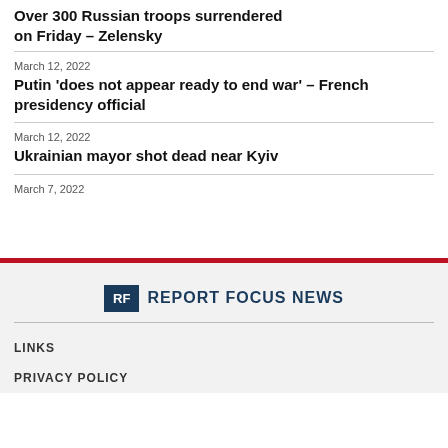Over 300 Russian troops surrendered on Friday – Zelensky
March 12, 2022
Putin 'does not appear ready to end war' – French presidency official
March 12, 2022
Ukrainian mayor shot dead near Kyiv
March 7, 2022
[Figure (logo): Report Focus News logo with RF box and text]
LINKS
PRIVACY POLICY